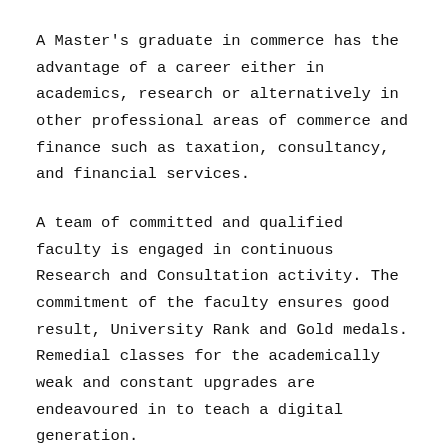A Master's graduate in commerce has the advantage of a career either in academics, research or alternatively in other professional areas of commerce and finance such as taxation, consultancy, and financial services.
A team of committed and qualified faculty is engaged in continuous Research and Consultation activity. The commitment of the faculty ensures good result, University Rank and Gold medals. Remedial classes for the academically weak and constant upgrades are endeavoured in to teach a digital generation.
VISION: To empower Women with education in the field of Commerce to act as Ethical Professionals and enable them to practice Fair Business Practice...